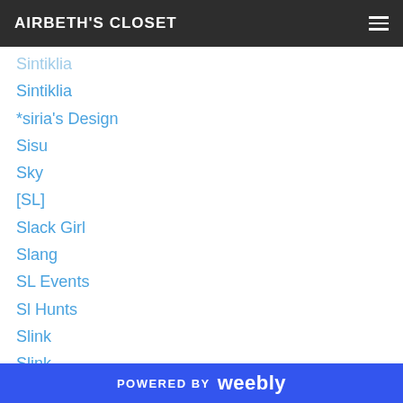AIRBETH'S CLOSET
Sintiklia
*siria's Design
Sisu
Sky
[SL]
Slack Girl
Slang
SL Events
Sl Hunts
Slink
Slink.
SL Places
[SM]
Sn@tch
Soodara
POWERED BY weebly